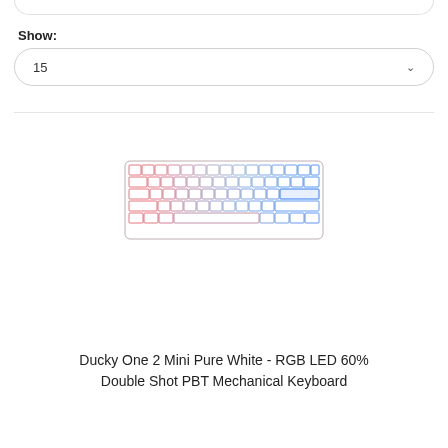Show:
15
[Figure (photo): White mechanical keyboard (Ducky One 2 Mini Pure White) with RGB LED backlighting showing gradient from pink/red on the left to blue/purple on the right]
Ducky One 2 Mini Pure White - RGB LED 60% Double Shot PBT Mechanical Keyboard